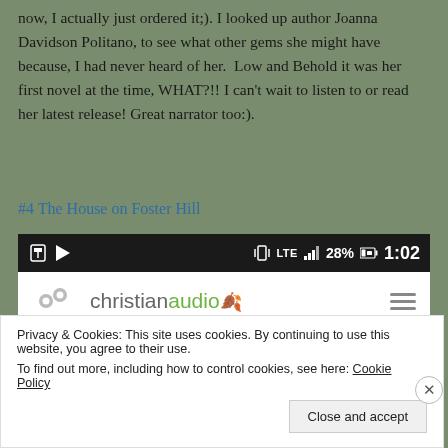now, I actually just ordered it;). I looked up author Joanna Davidson Politano, to see what other gems she might have because, I had never heard of her. Low and Behold it was her first novel at the time, WHAT?!! I can't wait to listen to or read her latest release! Great narrator too:).
#4 The House on Foster Hill
[Figure (screenshot): Mobile screenshot showing a status bar with LTE signal, 28% battery, 1:02 time, and the ChristianAudio app interface below it with a gear/settings icon and hamburger menu.]
Privacy & Cookies: This site uses cookies. By continuing to use this website, you agree to their use.
To find out more, including how to control cookies, see here: Cookie Policy
Close and accept